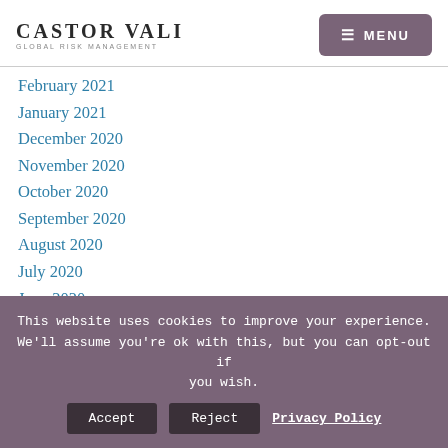CASTOR VALI GLOBAL RISK MANAGEMENT | MENU
February 2021
January 2021
December 2020
November 2020
October 2020
September 2020
August 2020
July 2020
June 2020
May 2020
April 2020
This website uses cookies to improve your experience. We'll assume you're ok with this, but you can opt-out if you wish. Accept Reject Privacy Policy